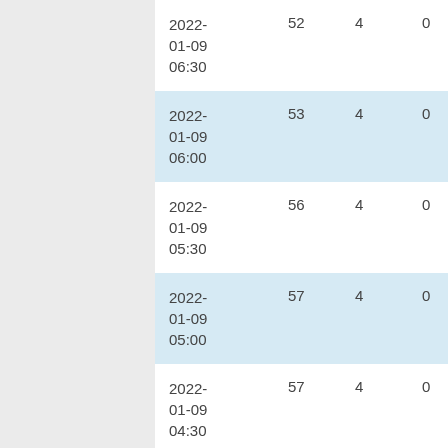| 2022-01-09 06:30 | 52 | 4 | 0 | 0 |
| 2022-01-09 06:00 | 53 | 4 | 0 | 0 |
| 2022-01-09 05:30 | 56 | 4 | 0 | 0 |
| 2022-01-09 05:00 | 57 | 4 | 0 | 0 |
| 2022-01-09 04:30 | 57 | 4 | 0 | 0 |
| 2022-01-09 04:00 | 57 | 4 | 0 | 0 |